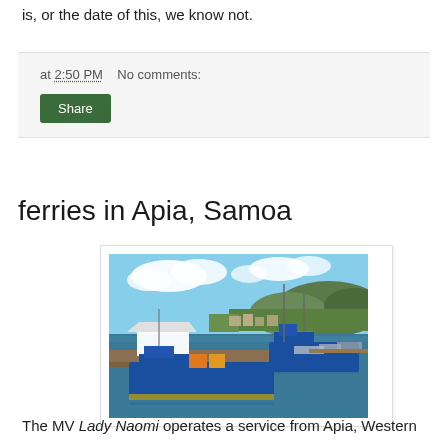is, or the date of this, we know not.
at 2:50 PM   No comments:
Share
ferries in Apia, Samoa
[Figure (photo): Aerial view of the port of Apia, Samoa, showing blue ferries and other vessels docked at a marina, with tropical vegetation and mountains in the background.]
The MV Lady Naomi operates a service from Apia, Western